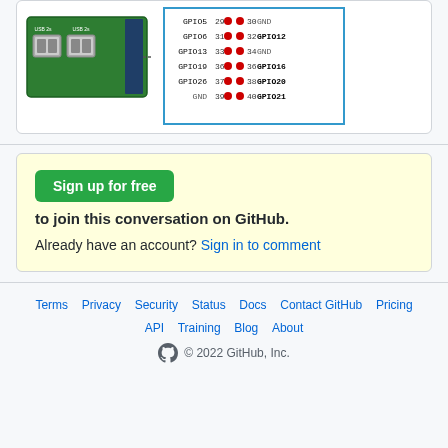[Figure (engineering-diagram): Raspberry Pi board photo on the left with a GPIO pinout diagram on the right showing pins 29-40 with labels including GPIO5, GPIO6, GPIO13, GPIO19, GPIO26, GND on left and GND, GPIO12, GND, GPIO16, GPIO20, GPIO21 on right, pin numbers in the middle with red dots]
Sign up for free to join this conversation on GitHub.
Already have an account? Sign in to comment
Terms · Privacy · Security · Status · Docs · Contact GitHub · Pricing · API · Training · Blog · About · © 2022 GitHub, Inc.